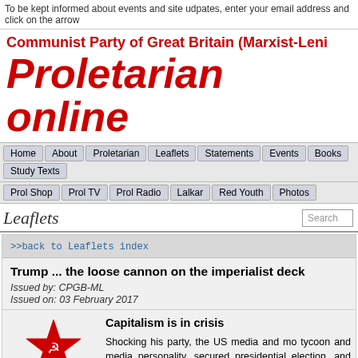To be kept informed about events and site udpates, enter your email address and click on the arrow
Communist Party of Great Britain (Marxist-Leni
Proletarian online
Home  About  Proletarian  Leaflets  Statements  Events  Books  Study Texts
Prol Shop  Prol TV  Prol Radio  Lalkar  Red Youth  Photos
Leaflets
>>back to Leaflets index
Trump ... the loose cannon on the imperialist deck
Issued by: CPGB-ML
Issued on: 03 February 2017
[Figure (illustration): Red star with hammer and sickle logo of CPGB-ML, with text Trump... below]
Capitalism is in crisis

Shocking his party, the US media and mo... tycoon and media personality, secured ... presidential election, and has now been in...